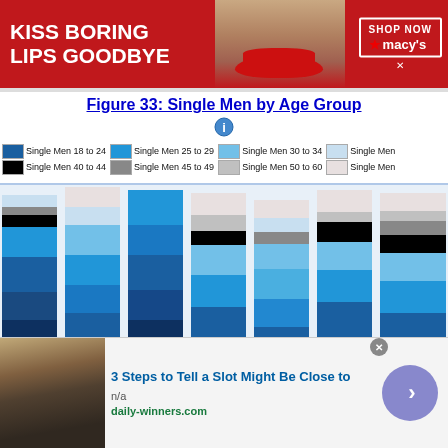[Figure (photo): Macy's advertisement banner: red background with woman's face showing red lips, text 'KISS BORING LIPS GOODBYE', 'SHOP NOW' button, Macy's logo with star]
Figure 33: Single Men by Age Group
[Figure (stacked-bar-chart): Stacked bar chart showing single men counts across multiple age groups for various geographic areas]
[Figure (advertisement): Bottom ad: '3 Steps to Tell a Slot Might Be Close to' from daily-winners.com with arrow button]